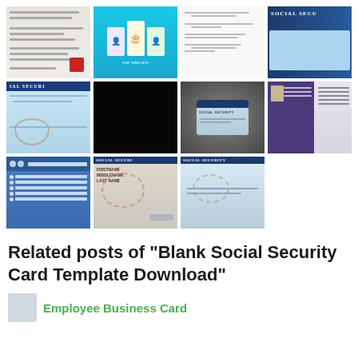[Figure (photo): Grid of 11 thumbnail images showing Social Security cards, letters, and related documents]
Related posts of "Blank Social Security Card Template Download"
Employee Business Card